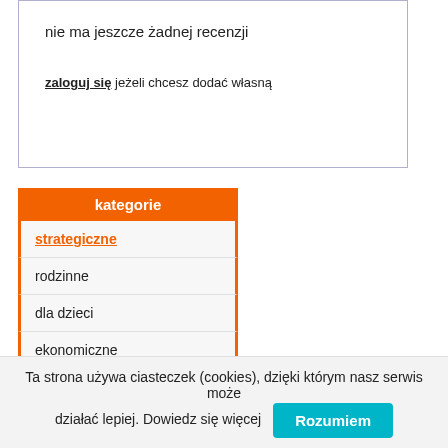nie ma jeszcze żadnej recenzji
zaloguj się jeżeli chcesz dodać własną
kategorie
strategiczne
rodzinne
dla dzieci
ekonomiczne
logiczne
tradycyjne
przygodowe
zręcznościowe
karciane
Ta strona używa ciasteczek (cookies), dzięki którym nasz serwis może działać lepiej. Dowiedz się więcej Rozumiem